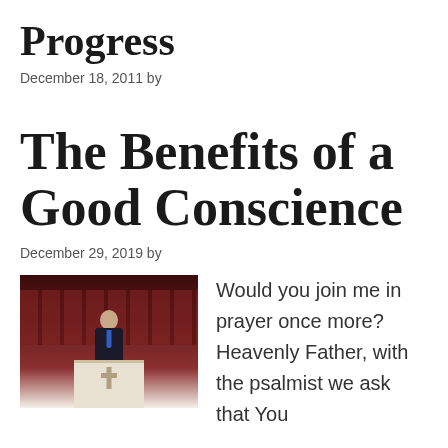Progress
December 18, 2011 by
The Benefits of a Good Conscience
December 29, 2019 by
[Figure (photo): A man in a dark suit with blue tie standing at a white pulpit with a cross in a church setting with dark red chairs in the background]
Would you join me in prayer once more? Heavenly Father, with the psalmist we ask that You